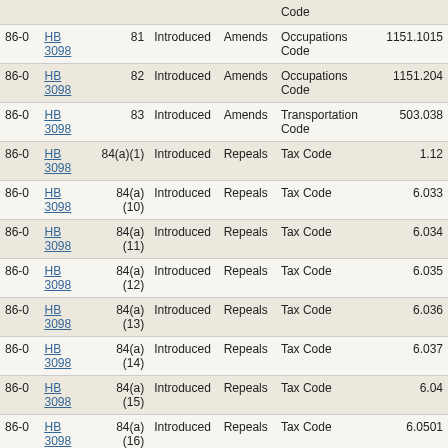| Session | Bill | Section | Status | Action | Code | Section# |
| --- | --- | --- | --- | --- | --- | --- |
|  |  |  |  |  | Code |  |
| 86-0 | HB 3098 | 81 | Introduced | Amends | Occupations Code | 1151.1015 |
| 86-0 | HB 3098 | 82 | Introduced | Amends | Occupations Code | 1151.204 |
| 86-0 | HB 3098 | 83 | Introduced | Amends | Transportation Code | 503.038 |
| 86-0 | HB 3098 | 84(a)(1) | Introduced | Repeals | Tax Code | 1.12 |
| 86-0 | HB 3098 | 84(a)(10) | Introduced | Repeals | Tax Code | 6.033 |
| 86-0 | HB 3098 | 84(a)(11) | Introduced | Repeals | Tax Code | 6.034 |
| 86-0 | HB 3098 | 84(a)(12) | Introduced | Repeals | Tax Code | 6.035 |
| 86-0 | HB 3098 | 84(a)(13) | Introduced | Repeals | Tax Code | 6.036 |
| 86-0 | HB 3098 | 84(a)(14) | Introduced | Repeals | Tax Code | 6.037 |
| 86-0 | HB 3098 | 84(a)(15) | Introduced | Repeals | Tax Code | 6.04 |
| 86-0 | HB 3098 | 84(a)(16) | Introduced | Repeals | Tax Code | 6.0501 |
| 86-0 | HB 3098 | 84(a)(17) | Introduced | Repeals | Tax Code | 6.051 |
| 86-0 | HB 3098 | 84(a)(18) | Introduced | Repeals | Tax Code | 6.061 |